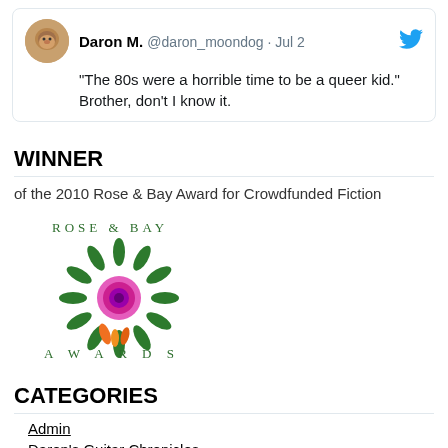[Figure (screenshot): Tweet from Daron M. (@daron_moondog · Jul 2) with Twitter bird logo and profile avatar. Tweet text: "The 80s were a horrible time to be a queer kid." Brother, don't I know it.]
WINNER
of the 2010 Rose & Bay Award for Crowdfunded Fiction
[Figure (logo): Rose & Bay Awards logo: circular wreath of green leaves with a pink/magenta rose in the center and orange flame accents at the bottom. Text reads ROSE & BAY at top and AWARDS at bottom in green spaced letters.]
CATEGORIES
Admin
Daron's Guitar Chronicles
DGC Extra
Donations & Site News
Fanworks